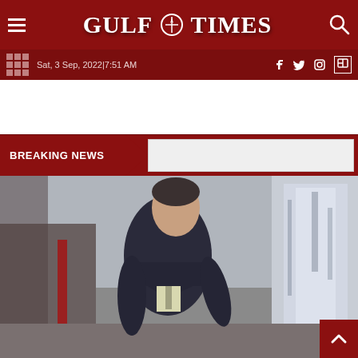Gulf Times
Sat, 3 Sep, 2022|7:51 AM
BREAKING NEWS
[Figure (photo): A middle-aged man in a dark suit and light tie walking, looking to the right, photographed outdoors near glass doors]